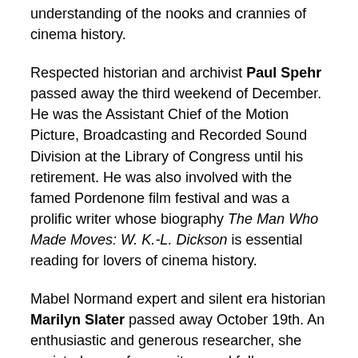understanding of the nooks and crannies of cinema history.
Respected historian and archivist Paul Spehr passed away the third weekend of December. He was the Assistant Chief of the Motion Picture, Broadcasting and Recorded Sound Division at the Library of Congress until his retirement. He was also involved with the famed Pordenone film festival and was a prolific writer whose biography The Man Who Made Moves: W. K.-L. Dickson is essential reading for lovers of cinema history.
Mabel Normand expert and silent era historian Marilyn Slater passed away October 19th. An enthusiastic and generous researcher, she assisted many fans, writers and fellow historians over the years and will be greatly missed. (I was fortunate to have her as a Facebook friend and benefited from much of her fine material at her Finding...